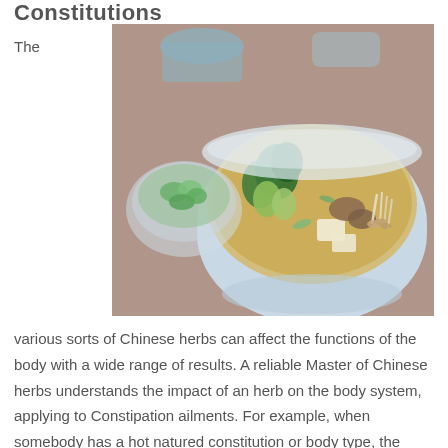Constitutions
The
[Figure (photo): A light blue ceramic bowl filled with Asian-style soup containing tofu, mushrooms, bok choy, and green onions in a clear broth, with a small glass dish of chopped green onions beside it, on a brown linen surface.]
various sorts of Chinese herbs can affect the functions of the body with a wide range of results. A reliable Master of Chinese herbs understands the impact of an herb on the body system, applying to Constipation ailments. For example, when somebody has a hot natured constitution or body type, the Chinese herbs formula implied demands to generate cool or cold. Also, if a certain person experiences a cold category affliction (eg. queasiness, IBS) then the herbs to be taken in need to be warming. And then it